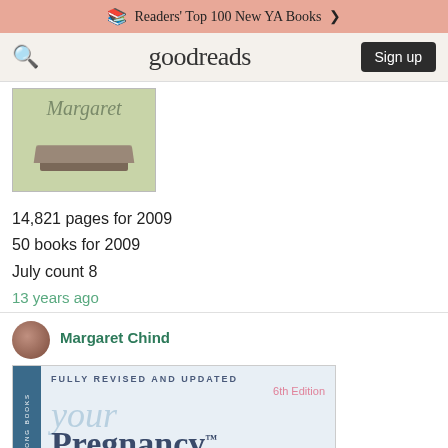Readers' Top 100 New YA Books >
[Figure (screenshot): Goodreads navigation bar with search icon, goodreads logo, and Sign up button]
[Figure (photo): Book cover with script text 'Margaret' and a book image on green background]
14,821 pages for 2009
50 books for 2009
July count 8
13 years ago
Margaret Chind
[Figure (photo): Book cover: 'Your Pregnancy' 6th Edition, Fully Revised and Updated, Lifelong Books, with blue and pink design]